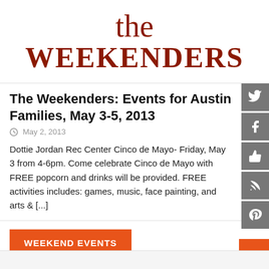the WEEKENDERS
The Weekenders: Events for Austin Families, May 3-5, 2013
May 2, 2013
Dottie Jordan Rec Center Cinco de Mayo- Friday, May 3 from 4-6pm. Come celebrate Cinco de Mayo with FREE popcorn and drinks will be provided. FREE activities includes: games, music, face painting, and arts & [...]
WEEKEND EVENTS